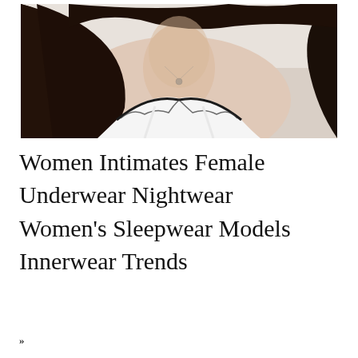[Figure (photo): A young woman with long dark hair wearing a white lace camisole/lingerie top with black trim, photographed from the shoulders up. She is wearing a small pendant necklace. The background is light/neutral.]
Women Intimates Female Underwear Nightwear Women's Sleepwear Models Innerwear Trends
»